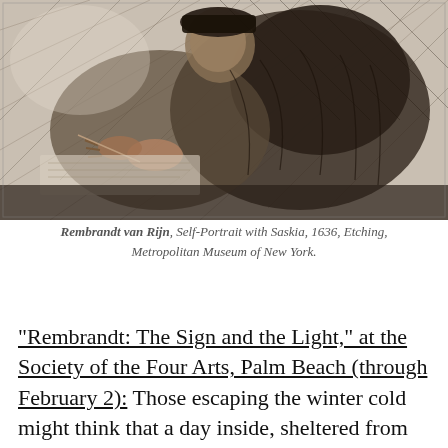[Figure (illustration): Etching by Rembrandt van Rijn, Self-Portrait with Saskia, 1636, showing a figure drawing or writing, rendered in detailed crosshatched etching style.]
Rembrandt van Rijn, Self-Portrait with Saskia, 1636, Etching, Metropolitan Museum of New York.
“Rembrandt: The Sign and the Light,” at the Society of the Four Arts, Palm Beach (through February 2): Those escaping the winter cold might think that a day inside, sheltered from the Vitamin D–giving rays, is a wasted one. Not so at Palm Beach’s Society